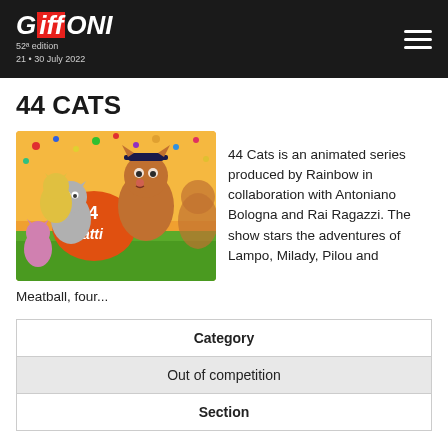GIFFONI 52nd edition 21 · 30 July 2022
44 CATS
[Figure (photo): Promotional image for 44 Cats animated series showing cartoon cats characters with '44 Gatti' logo on orange background with green ground]
44 Cats is an animated series produced by Rainbow in collaboration with Antoniano Bologna and Rai Ragazzi. The show stars the adventures of Lampo, Milady, Pilou and Meatball, four...
| Category | Section |
| --- | --- |
| Out of competition |
| Section |